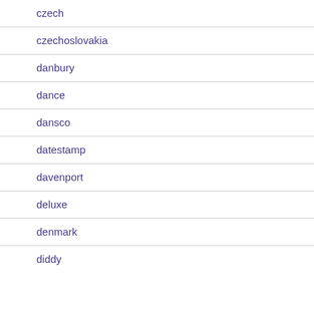czech
czechoslovakia
danbury
dance
dansco
datestamp
davenport
deluxe
denmark
diddy